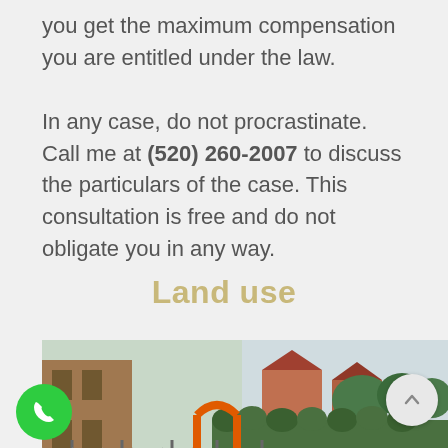you get the maximum compensation you are entitled under the law.

In any case, do not procrastinate. Call me at (520) 260-2007 to discuss the particulars of the case. This consultation is free and do not obligate you in any way.
Land use
[Figure (photo): Photo of a construction site with temporary metal fencing, brick building under construction in background, green hedging, suburban houses and trees visible, orange gate element]